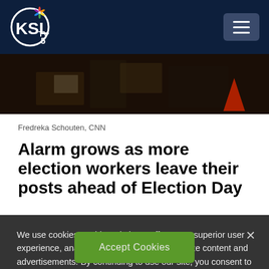[Figure (logo): KSL TV 5 NBC logo with hamburger menu button on dark navy background navigation bar]
[Figure (photo): Dark photo strip showing what appears to be an election-related indoor scene with boxes and a red cone]
Fredreka Schouten, CNN
Alarm grows as more election workers leave their posts ahead of Election Day
We use cookies on this website to offer you a superior user experience, analyze site traffic, and personalize content and advertisements. By continuing to use our site, you consent to our use of cookies. Please visit our Privacy Policy for more information.
Accept Cookies